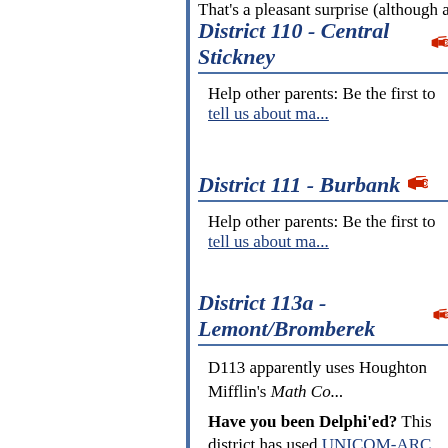That's a pleasant surprise (although a bit of a para...
District 110 - Central Stickney
Help other parents: Be the first to tell us about ma...
District 111 - Burbank
Help other parents: Be the first to tell us about ma...
District 113a - Lemont/Bromberek
D113 apparently uses Houghton Mifflin's Math Co...
Have you been Delphi'ed? This district has used UNICOM-ARC for public relations efforts. To lea... ARC, and how school districts have been employi... these pages on our website:
Spinmeisters Come To Town
School Districts and Public Relations